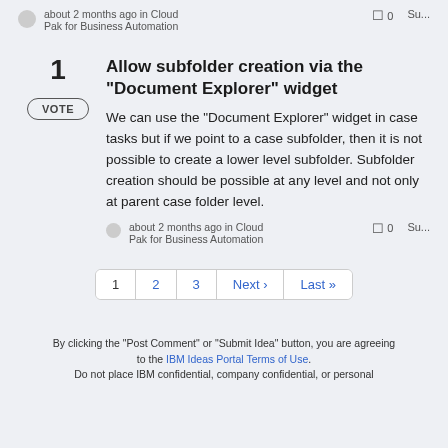about 2 months ago in Cloud Pak for Business Automation  □ 0  Su...
Allow subfolder creation via the "Document Explorer" widget
We can use the "Document Explorer" widget in case tasks but if we point to a case subfolder, then it is not possible to create a lower level subfolder. Subfolder creation should be possible at any level and not only at parent case folder level.
about 2 months ago in Cloud Pak for Business Automation  □ 0  Su...
1  2  3  Next ›  Last »
By clicking the "Post Comment" or "Submit Idea" button, you are agreeing to the IBM Ideas Portal Terms of Use. Do not place IBM confidential, company confidential, or personal